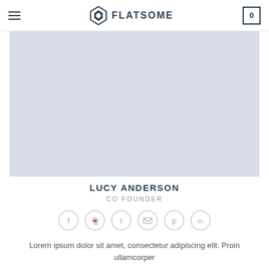FLATSOME
[Figure (photo): Light blue-grey placeholder photo area for Lucy Anderson]
LUCY ANDERSON
CO FOUNDER
[Figure (infographic): Six social media icon circles: Facebook, Snapchat, Twitter, Email, Pinterest, LinkedIn]
Lorem ipsum dolor sit amet, consectetur adipiscing elit. Proin ullamcorper